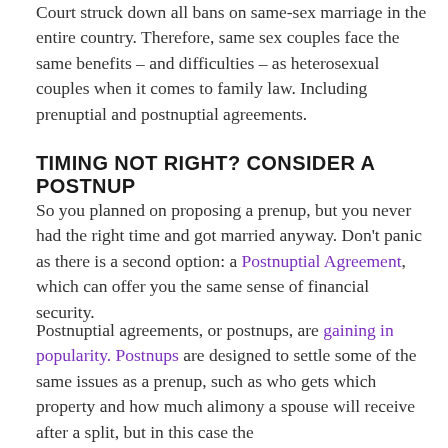Court struck down all bans on same-sex marriage in the entire country. Therefore, same sex couples face the same benefits – and difficulties – as heterosexual couples when it comes to family law. Including prenuptial and postnuptial agreements.
TIMING NOT RIGHT? CONSIDER A POSTNUP
So you planned on proposing a prenup, but you never had the right time and got married anyway. Don't panic as there is a second option: a Postnuptial Agreement, which can offer you the same sense of financial security.
Postnuptial agreements, or postnups, are gaining in popularity. Postnups are designed to settle some of the same issues as a prenup, such as who gets which property and how much alimony a spouse will receive after a split, but in this case the